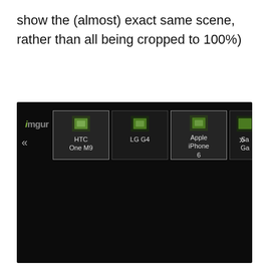show the (almost) exact same scene, rather than all being cropped to 100%)
[Figure (screenshot): A dark-themed image comparison interface (imgur-style) showing a thumbnail navigation bar at the top with device names: HTC One M9, LG G4, Apple iPhone 6, Samsung Galaxy (partially visible). Left and right navigation arrows (« ») are visible. The main content area below the thumbnails is mostly black/dark.]